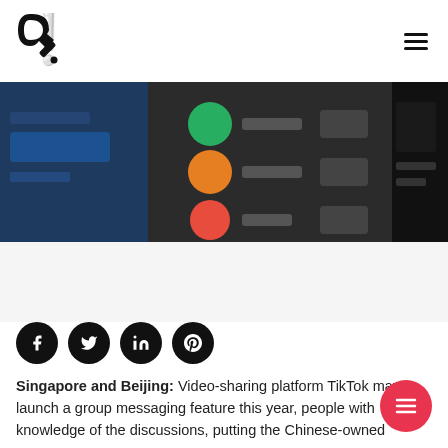QuestionsCo logo and navigation hamburger menu
[Figure (screenshot): Dark UI screenshot showing a list with colored circles (green, orange, red) next to horizontal lines, with gray rectangles on the right, flanked by blurred app screenshots]
[Figure (infographic): Social sharing buttons: Facebook, Twitter, LinkedIn, Pinterest (black circular icons)]
Singapore and Beijing: Video-sharing platform TikTok may launch a group messaging feature this year, people with knowledge of the discussions, putting the Chinese-owned